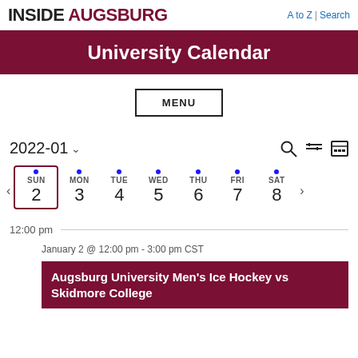INSIDE AUGSBURG | A to Z | Search
University Calendar
MENU
2022-01
[Figure (other): Week calendar row showing SUN 2, MON 3, TUE 4, WED 5, THU 6, FRI 7, SAT 8 with blue dots above each day. SUN 2 is highlighted with a maroon border.]
12:00 pm
January 2 @ 12:00 pm - 3:00 pm CST
Augsburg University Men's Ice Hockey vs Skidmore College